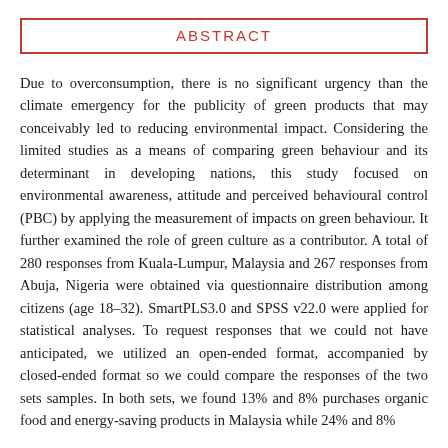ABSTRACT
Due to overconsumption, there is no significant urgency than the climate emergency for the publicity of green products that may conceivably led to reducing environmental impact. Considering the limited studies as a means of comparing green behaviour and its determinant in developing nations, this study focused on environmental awareness, attitude and perceived behavioural control (PBC) by applying the measurement of impacts on green behaviour. It further examined the role of green culture as a contributor. A total of 280 responses from Kuala-Lumpur, Malaysia and 267 responses from Abuja, Nigeria were obtained via questionnaire distribution among citizens (age 18–32). SmartPLS3.0 and SPSS v22.0 were applied for statistical analyses. To request responses that we could not have anticipated, we utilized an open-ended format, accompanied by closed-ended format so we could compare the responses of the two sets samples. In both sets, we found 13% and 8% purchases organic food and energy-saving products in Malaysia while 24% and 8%